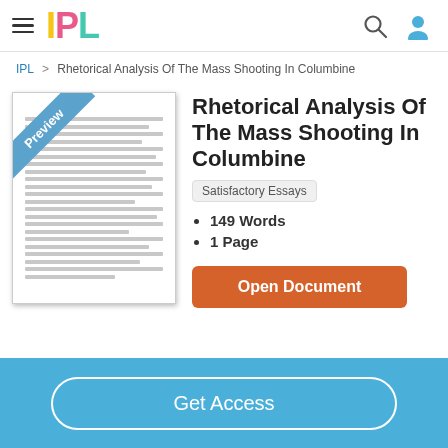IPL
IPL > Rhetorical Analysis Of The Mass Shooting In Columbine
[Figure (illustration): Document preview thumbnail with 'Preview' ribbon banner in blue]
Rhetorical Analysis Of The Mass Shooting In Columbine
Satisfactory Essays
149 Words
1 Page
Open Document
Get Access